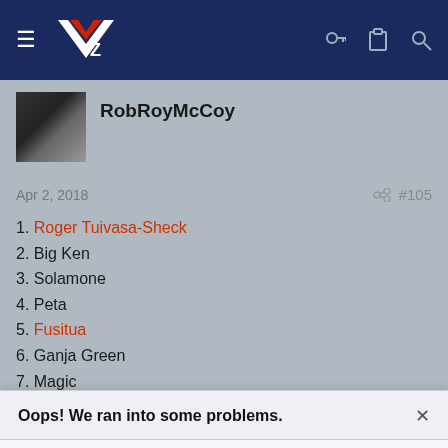[Figure (screenshot): Navigation bar with hamburger menu, NZ Warriors logo, and icons for key, clipboard, and search]
RobRoyMcCoy
Apr 2, 2018  #105
1. Roger Tuivasa-Sheck
2. Big Ken
3. Solamone
4. Peta
5. Fusitua
6. Ganja Green
7. Magic
8. Afoa
9. Bully
Oops! We ran into some problems.
Cookies are required to use this site. You must accept them to continue using the site.